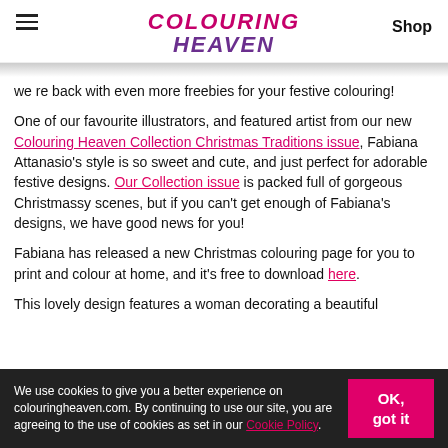COLOURING HEAVEN | Shop
we're back with even more freebies for your festive colouring!
One of our favourite illustrators, and featured artist from our new Colouring Heaven Collection Christmas Traditions issue, Fabiana Attanasio's style is so sweet and cute, and just perfect for adorable festive designs. Our Collection issue is packed full of gorgeous Christmassy scenes, but if you can't get enough of Fabiana's designs, we have good news for you!
Fabiana has released a new Christmas colouring page for you to print and colour at home, and it's free to download here.
This lovely design features a woman decorating a beautiful
We use cookies to give you a better experience on colouringheaven.com. By continuing to use our site, you are agreeing to the use of cookies as set in our Cookie Policy.